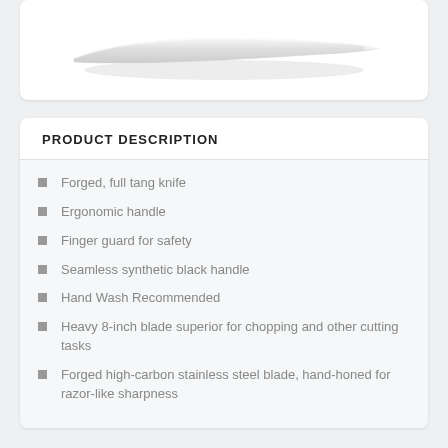[Figure (photo): Partial view of a kitchen knife blade, showing the silver metallic blade against a white background]
PRODUCT DESCRIPTION
Forged, full tang knife
Ergonomic handle
Finger guard for safety
Seamless synthetic black handle
Hand Wash Recommended
Heavy 8-inch blade superior for chopping and other cutting tasks
Forged high-carbon stainless steel blade, hand-honed for razor-like sharpness